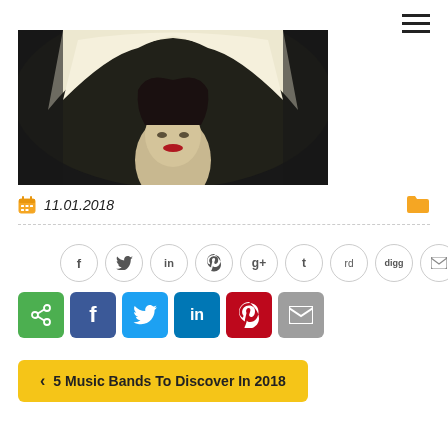[Figure (photo): A person wearing a large white hood/cape, with dark hair visible and red lips, against a dark background.]
11.01.2018
[Figure (infographic): Row of social share circle buttons: Facebook, Twitter, LinkedIn, Pinterest, Google+, Tumblr, Reddit, Digg, Email]
[Figure (infographic): Row of colored square share buttons: Share, Facebook, Twitter, LinkedIn, Pinterest, Email]
< 5 Music Bands To Discover In 2018